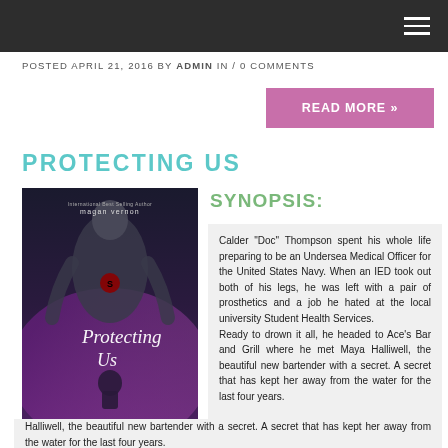≡ (navigation menu)
POSTED APRIL 21, 2016 BY ADMIN IN / 0 COMMENTS
READ MORE »
PROTECTING US
[Figure (illustration): Book cover for 'Protecting Us' by Magan Vernon, International Best Selling Author. Dark moody cover with male figure and child silhouette.]
SYNOPSIS:
Calder "Doc" Thompson spent his whole life preparing to be an Undersea Medical Officer for the United States Navy. When an IED took out both of his legs, he was left with a pair of prosthetics and a job he hated at the local university Student Health Services. Ready to drown it all, he headed to Ace's Bar and Grill where he met Maya Halliwell, the beautiful new bartender with a secret. A secret that has kept her away from the water for the last four years.